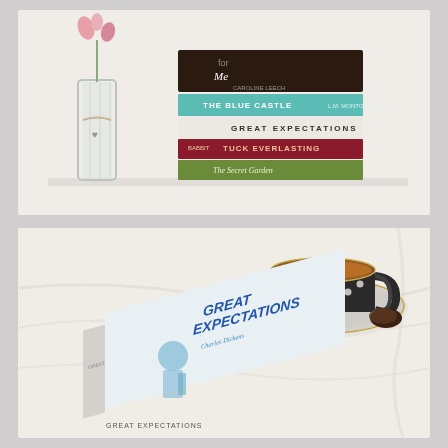[Figure (photo): A stack of books on a white shelf next to a glass vase with a flower. Books visible include 'Wait for Me' by Caroline Leech (dark cover on top), 'The Blue Castle' (teal cover), 'Great Expectations' (white cover), 'Tuck Everlasting' (red cover), and 'The Secret Garden' (green cover at bottom).]
[Figure (photo): A copy of 'Great Expectations' by Charles Dickens lying flat on white fabric/cloth, with a dark polka-dot teacup filled with tea on a saucer (with a small chocolate/truffle) in the upper right corner. The book cover shows a blue watercolor illustration of a figure.]